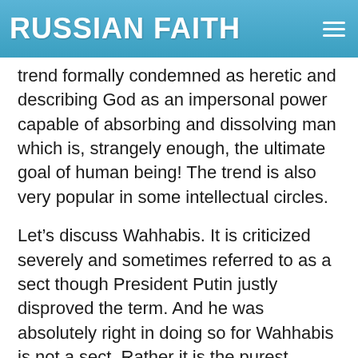RUSSIAN FAITH
trend formally condemned as heretic and describing God as an impersonal power capable of absorbing and dissolving man which is, strangely enough, the ultimate goal of human being! The trend is also very popular in some intellectual circles.
Let’s discuss Wahhabis. It is criticized severely and sometimes referred to as a sect though President Putin justly disproved the term. And he was absolutely right in doing so for Wahhabis is not a sect. Rather it is the purest remnant of the core Islam, and the official confession in Saudi Arabia adopting the Wahhabis version along with some other Arabic countries. This particular